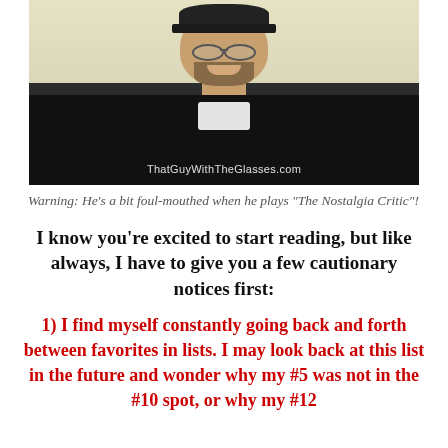[Figure (photo): Screenshot of a man with glasses, beard, and a black hoodie smiling at the camera. Watermark reads 'ThatGuyWithTheGlasses.com' at the bottom.]
Warning: He’s a bit foul-mouthed when he plays “The Nostalgia Critic”!
I know you’re excited to start reading, but like always, I have to give you a few cautionary notices first:
1) I find myself constantly going back and forth between favorites in lists. I may look back at this list in the future and wonder why my #5 was not in the #10 spot, or why my #12